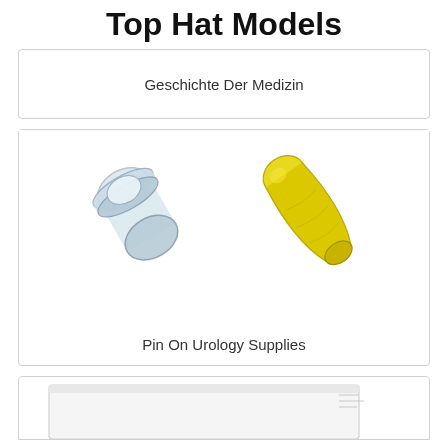Top Hat Models
[Figure (photo): Card with text 'Geschichte Der Medizin']
Geschichte Der Medizin
[Figure (photo): Two medical top hat device models: a clear/translucent plastic cylindrical cap on the left and a yellow finger-shaped latex/rubber piece on the right, both on white background.]
Pin On Urology Supplies
[Figure (photo): Partial view of a white cardboard box, cut off at bottom of page.]